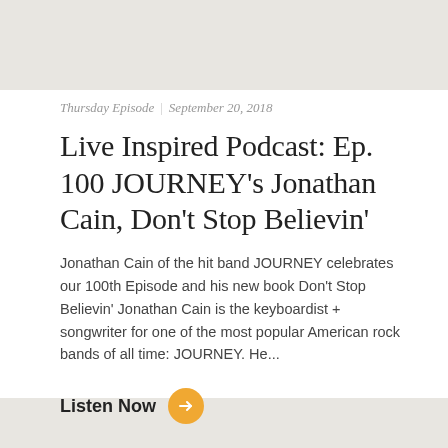Thursday Episode | September 20, 2018
Live Inspired Podcast: Ep. 100 JOURNEY’s Jonathan Cain, Don’t Stop Believin’
Jonathan Cain of the hit band JOURNEY celebrates our 100th Episode and his new book Don’t Stop Believin’ Jonathan Cain is the keyboardist + songwriter for one of the most popular American rock bands of all time: JOURNEY. He...
Listen Now →